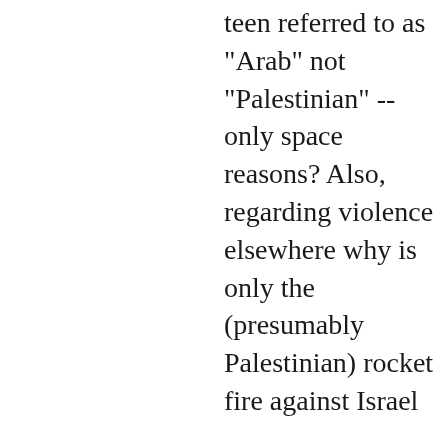teen referred to as "Arab" not "Palestinian" -- only space reasons? Also, regarding violence elsewhere why is only the (presumably Palestinian) rocket fire against Israel